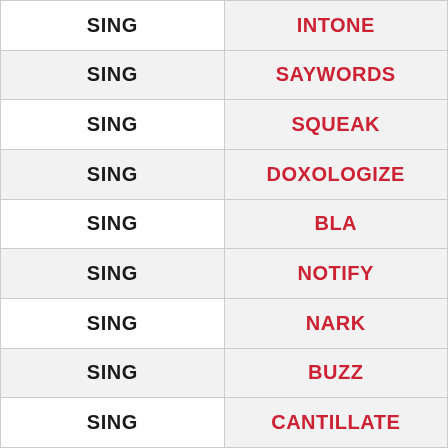|  |  |
| --- | --- |
| SING | INTONE |
| SING | SAYWORDS |
| SING | SQUEAK |
| SING | DOXOLOGIZE |
| SING | BLA |
| SING | NOTIFY |
| SING | NARK |
| SING | BUZZ |
| SING | CANTILLATE |